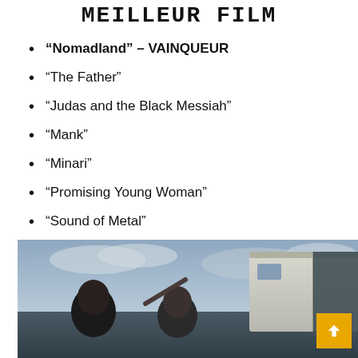Meilleur film
“Nomadland” – VAINQUEUR
“The Father”
“Judas and the Black Messiah”
“Mank”
“Minari”
“Promising Young Woman”
“Sound of Metal”
“The Trial of the Chicago 7”
[Figure (photo): Scene from Nomadland showing two people near an RV with a cloudy sky backdrop]